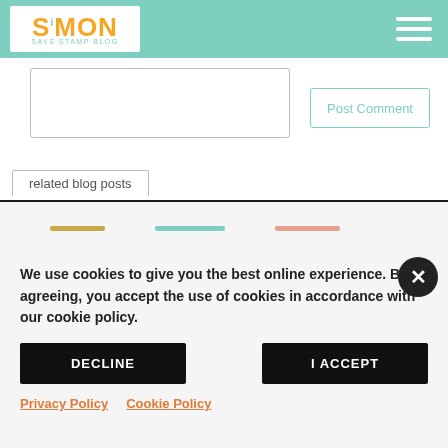SIMON SAYS STAMP BLOG
Post Comment
related blog posts
We use cookies to give you the best online experience. By agreeing, you accept the use of cookies in accordance with our cookie policy.
DECLINE
I ACCEPT
Privacy Policy   Cookie Policy